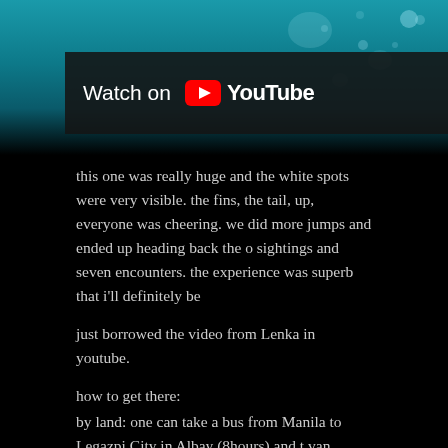[Figure (screenshot): YouTube video embed banner with 'Watch on YouTube' overlay on a teal/dark underwater background]
this one was really huge and the white spots were very visible. the fins, the tail, up, everyone was cheering. we did more jumps and ended up heading back the o sightings and seven encounters. the experience was superb that i'll definitely be
just borrowed the video from Lenka in youtube.
how to get there:
by land: one can take a bus from Manila to Legazpi City in Albay (8hours) and t van terminal to Donsol Sorsogon (1hour).
by air: there are daily flights from Manila to Legazpi City (1hour) and take the v central van terminal of Legazpi.
when you reach Donsol, inform the van driver to drop you at the Donsol Tourist Shark Interaction.
eskapo recommends:
1. sightings of whale sharks in Donsol are from February to May but the best ti whale sharks are still in large volumes.
2. if you really want to catch up with the whales, you can rent fins but as cautio don't hit the shark with these.
3. van trips to Legazpi are limited and has no schedule, so if possible arrange wi